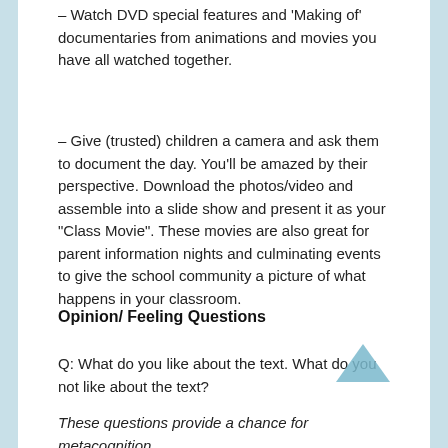– Watch DVD special features and 'Making of' documentaries from animations and movies you have all watched together.
– Give (trusted) children a camera and ask them to document the day. You'll be amazed by their perspective. Download the photos/video and assemble into a slide show and present it as your "Class Movie". These movies are also great for parent information nights and culminating events to give the school community a picture of what happens in your classroom.
Opinion/ Feeling Questions
Q: What do you like about the text. What do you not like about the text?
These questions provide a chance for metacognition